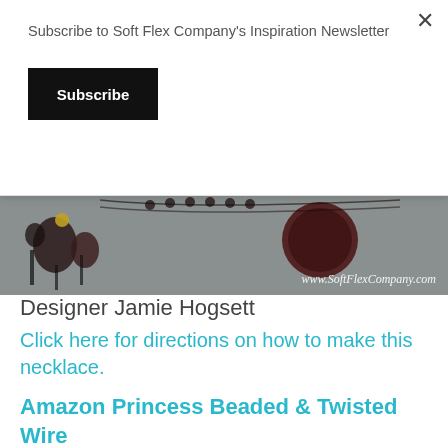Subscribe to Soft Flex Company’s Inspiration Newsletter
Subscribe
[Figure (photo): Banner photo of dark beaded jewelry (garnet/dark red beads and pendants) against a grey background, with watermark text 'www.SoftFlexCompany.com' in white italic script at bottom right.]
Designer Jamie Hogsett
Click here for directions on how to make this necklace.
Amazon Princess Beaded & Twisted Wire Necklace